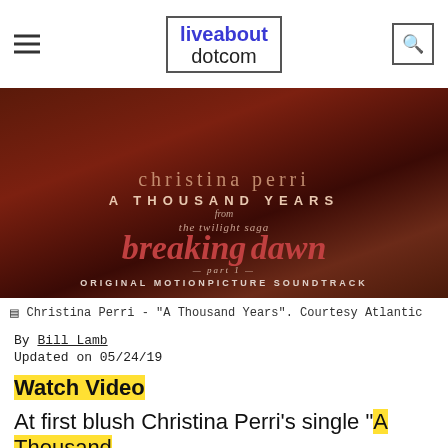liveabout dotcom
[Figure (photo): Album cover for Christina Perri - 'A Thousand Years' from The Twilight Saga: Breaking Dawn Part 1 Original Motion Picture Soundtrack]
Christina Perri - "A Thousand Years". Courtesy Atlantic
By Bill Lamb
Updated on 05/24/19
Watch Video
At first blush Christina Perri's single "A Thousand Years" sounds rather ordinary. However give it a